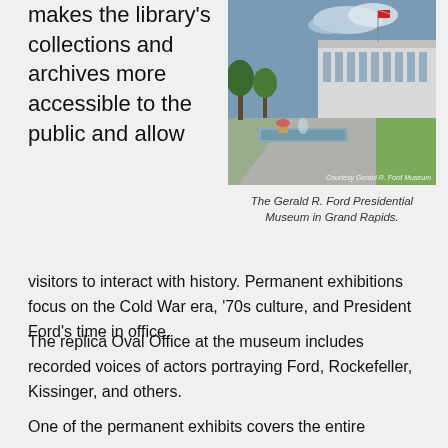makes the library's collections and archives more accessible to the public and allow
[Figure (photo): Exterior photo of the Gerald R. Ford Presidential Museum in Grand Rapids, showing a modern building with a long reflecting pool/fountain, trees, and green lawn. American flag visible. Photo credit: Courtesy Gerald R. Ford Museum.]
The Gerald R. Ford Presidential Museum in Grand Rapids.
visitors to interact with history. Permanent exhibitions focus on the Cold War era, '70s culture, and President Ford's time in office.
The replica Oval Office at the museum includes recorded voices of actors portraying Ford, Rockefeller, Kissinger, and others.
One of the permanent exhibits covers the entire